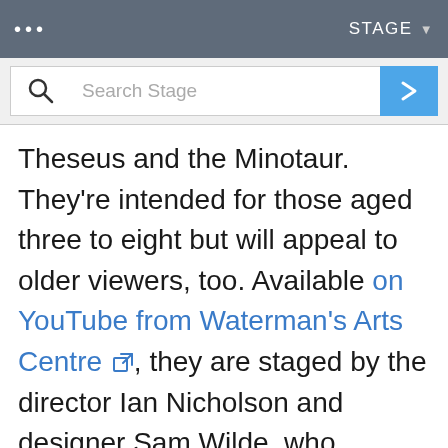... STAGE ▼
[Figure (screenshot): Search bar with magnifying glass icon, 'Search Stage' placeholder text, and blue arrow button on the right]
Theseus and the Minotaur. They're intended for those aged three to eight but will appeal to older viewers, too. Available on YouTube from Waterman's Arts Centre 🔗, they are staged by the director Ian Nicholson and designer Sam Wilde, who brightened up lockdown with their delightful puppet versions of the picture books I Want My Hat Back and Shh! We Have a Plan 🔗.